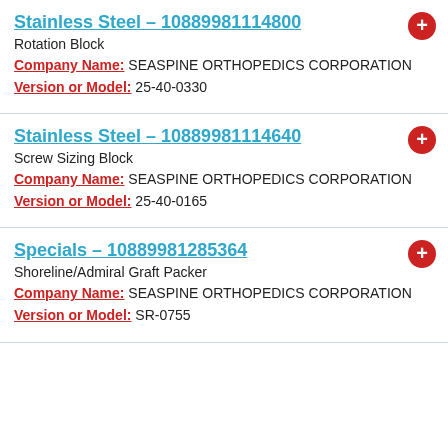Stainless Steel – 10889981114800
Rotation Block
Company Name: SEASPINE ORTHOPEDICS CORPORATION
Version or Model: 25-40-0330
Stainless Steel – 10889981114640
Screw Sizing Block
Company Name: SEASPINE ORTHOPEDICS CORPORATION
Version or Model: 25-40-0165
Specials – 10889981285364
Shoreline/Admiral Graft Packer
Company Name: SEASPINE ORTHOPEDICS CORPORATION
Version or Model: SR-0755